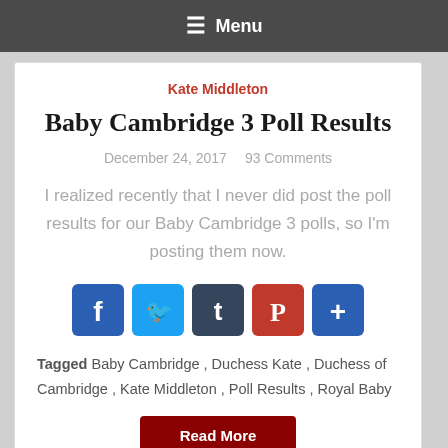≡ Menu
Kate Middleton
Baby Cambridge 3 Poll Results
December 24, 2017    93 Comments
I realized recently that I never did post the poll results for our Baby Cambridge 3 polls, so I'm posting them now.
[Figure (infographic): Social sharing buttons: Facebook, Twitter, Tumblr, Pinterest, More (+)]
Tagged  Baby Cambridge ,  Duchess Kate ,  Duchess of Cambridge ,  Kate Middleton ,  Poll Results ,  Royal Baby
Read More